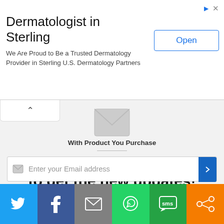[Figure (screenshot): Advertisement banner for Dermatologist in Sterling with Open button]
Dermatologist in Sterling
We Are Proud to Be a Trusted Dermatology Provider in Sterling U.S. Dermatology Partners
[Figure (screenshot): Envelope/mail icon]
With Product You Purchase
Subscribe to our mailing list to get the new updates!
Lorem ipsum dolor sit amet, consectetur.
Enter your Email address
[Figure (screenshot): Social share bar with Twitter, Facebook, Email, WhatsApp, SMS, and share icons]